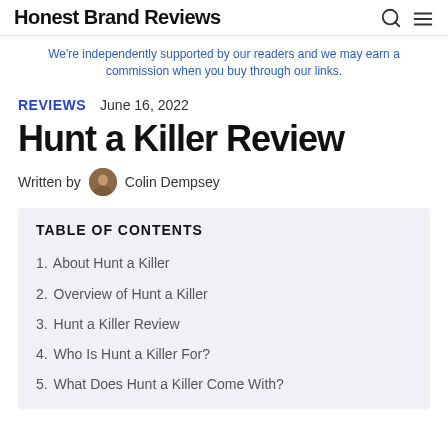Honest Brand Reviews
We're independently supported by our readers and we may earn a commission when you buy through our links.
REVIEWS   June 16, 2022
Hunt a Killer Review
Written by Colin Dempsey
TABLE OF CONTENTS
1. About Hunt a Killer
2. Overview of Hunt a Killer
3. Hunt a Killer Review
4. Who Is Hunt a Killer For?
5. What Does Hunt a Killer Come With?